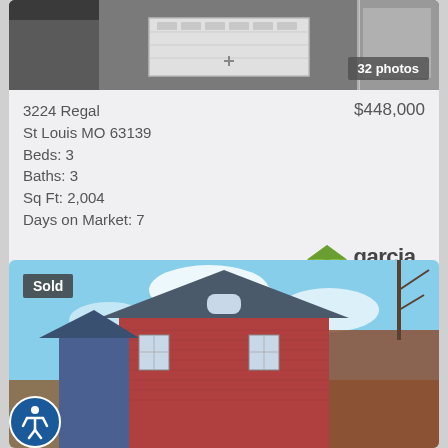[Figure (photo): Exterior photo of home with garage door, shown with 32 photos badge]
3224 Regal
St Louis MO 63139
Beds: 3
Baths: 3
Sq Ft: 2,004
Days on Market: 7
$448,000
[Figure (logo): Garcia Properties logo — green house with smiley face icon and 'garcia PROPERTIES' text]
Favorite  Trip Map  Request Info  Appointment
[Figure (photo): Sold badge on exterior photo of red brick Victorian-style house against blue sky]
[Figure (other): Accessibility button (circular blue icon with person symbol) in bottom-left corner]